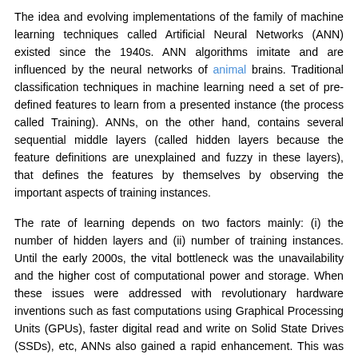The idea and evolving implementations of the family of machine learning techniques called Artificial Neural Networks (ANN) existed since the 1940s. ANN algorithms imitate and are influenced by the neural networks of animal brains. Traditional classification techniques in machine learning need a set of pre-defined features to learn from a presented instance (the process called Training). ANNs, on the other hand, contains several sequential middle layers (called hidden layers because the feature definitions are unexplained and fuzzy in these layers), that defines the features by themselves by observing the important aspects of training instances.
The rate of learning depends on two factors mainly: (i) the number of hidden layers and (ii) number of training instances. Until the early 2000s, the vital bottleneck was the unavailability and the higher cost of computational power and storage. When these issues were addressed with revolutionary hardware inventions such as fast computations using Graphical Processing Units (GPUs), faster digital read and write on Solid State Drives (SSDs), etc, ANNs also gained a rapid enhancement. This was the beginning of the popular term Deep Neural Networks, that is nothing more than ANNs with a larger number of layers (layers) and better learning rate. Reaches above...